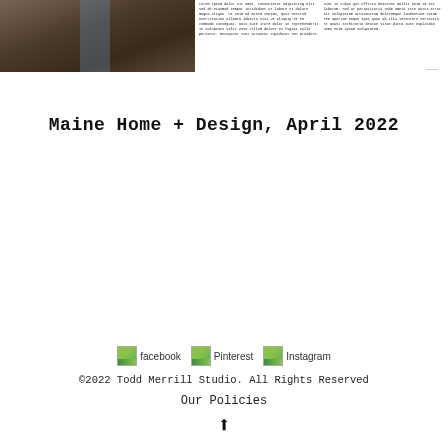[Figure (photo): Partial view of a person wearing brown leather pants/apron, cropped at the top of the page]
Small body text columns appearing to the right of the photo, with article content (too small to read clearly)
Maine Home + Design, April 2022
[Figure (logo): Facebook icon placeholder]
[Figure (logo): Pinterest icon placeholder]
[Figure (logo): Instagram icon placeholder]
©2022 Todd Merrill Studio. All Rights Reserved
Our Policies
↑